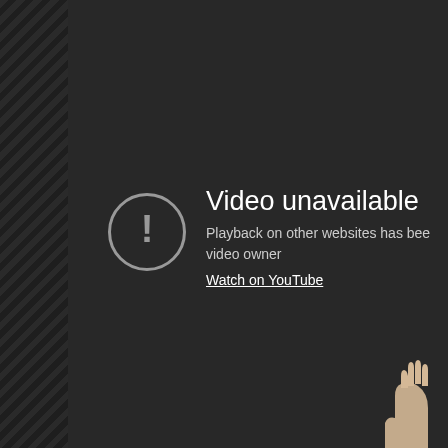[Figure (screenshot): Screenshot of a YouTube 'Video unavailable' error message overlay on a dark background. Shows a circle with exclamation mark icon, 'Video unavailable' heading, message 'Playback on other websites has been disabled by the video owner', and a 'Watch on YouTube' underlined link. Below is a caption 'courtesy of ABS-CBN' and a partially visible thumbnail strip showing a dark blue scene.]